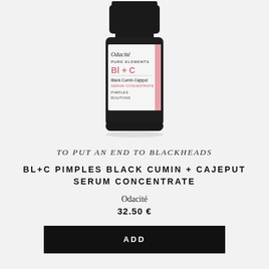[Figure (photo): Small dark glass bottle of Odacité Pure Elements Bl+C Black Cumin-Cajeput Serum Concentrate for Pimples, with black cap and white label with pink/red text accents]
TO PUT AN END TO BLACKHEADS
BL+C PIMPLES BLACK CUMIN + CAJEPUT SERUM CONCENTRATE
Odacité
32.50 €
ADD